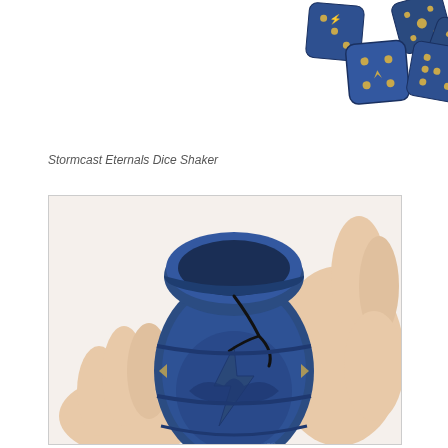[Figure (photo): Blue Stormcast Eternals dice grouped together on a white background, showing gold pips and decorative symbols on the faces]
Stormcast Eternals Dice Shaker
[Figure (photo): A hand holding a blue Stormcast Eternals dice shaker, open at the top with a cord tether, showing an embossed Stormcast Eternals logo on the body]